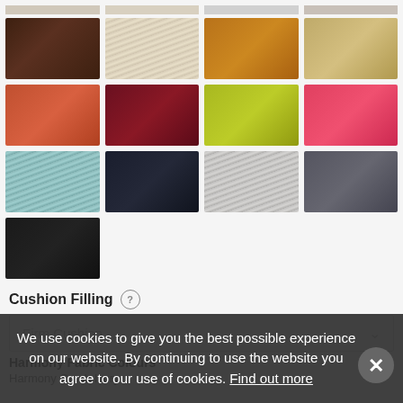[Figure (photo): Grid of fabric swatches in various colors: top partial row, then rows showing brown, cream, amber, tan; rust, crimson, lime-green, pink; teal, navy, silver-gray, charcoal; and a single black swatch.]
Cushion Filling ?
Firm Cushion
Harmony Fabric Colours
Harmony Crush Ivory
We use cookies to give you the best possible experience on our website. By continuing to use the website you agree to our use of cookies. Find out more